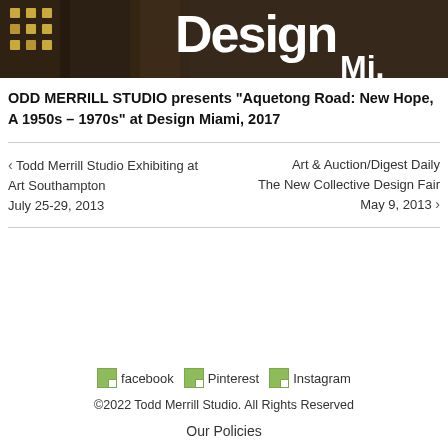[Figure (photo): Header image showing dark textured background with golden dots on the left and large white 'Design Mi.' text on the right]
ODD MERRILL STUDIO presents "Aquetong Road: New Hope, A 1950s – 1970s" at Design Miami, 2017
‹ Todd Merrill Studio Exhibiting at Art Southampton July 25-29, 2013
Art & Auction/Digest Daily The New Collective Design Fair May 9, 2013 ›
facebook  Pinterest  Instagram
©2022 Todd Merrill Studio. All Rights Reserved
Our Policies